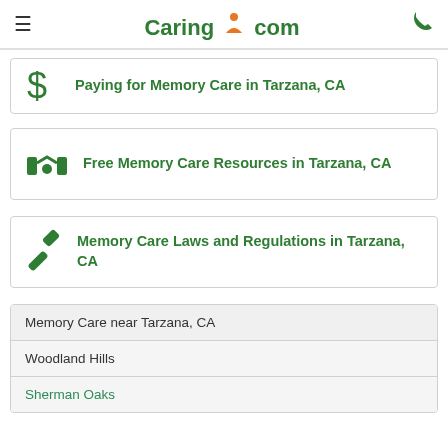Caring.com
Paying for Memory Care in Tarzana, CA
Free Memory Care Resources in Tarzana, CA
Memory Care Laws and Regulations in Tarzana, CA
| Memory Care near Tarzana, CA |
| --- |
| Woodland Hills |
| Sherman Oaks |